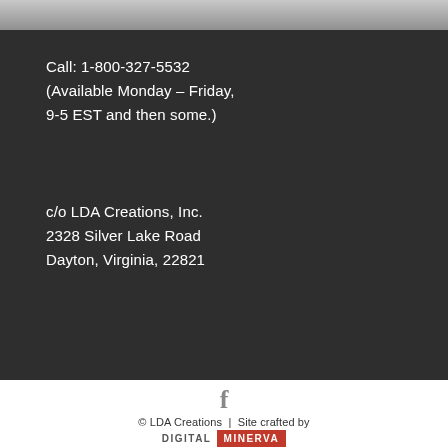[Figure (photo): Top portion of a dark/grey image, partially visible at the top of the page]
Call: 1-800-327-5532
(Available Monday – Friday,
9-5 EST and then some.)
c/o LDA Creations, Inc.
2328 Silver Lake Road
Dayton, Virginia, 22821
[Figure (logo): Facebook icon (f) in grey]
© LDA Creations | Site crafted by DIGITAL MINERVA